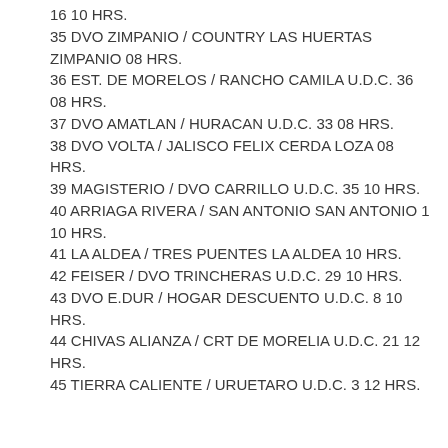16 10 HRS.
35 DVO ZIMPANIO / COUNTRY LAS HUERTAS ZIMPANIO 08 HRS.
36 EST. DE MORELOS / RANCHO CAMILA U.D.C. 36 08 HRS.
37 DVO AMATLAN / HURACAN U.D.C. 33 08 HRS.
38 DVO VOLTA / JALISCO FELIX CERDA LOZA 08 HRS.
39 MAGISTERIO / DVO CARRILLO U.D.C. 35 10 HRS.
40 ARRIAGA RIVERA / SAN ANTONIO SAN ANTONIO 1 10 HRS.
41 LA ALDEA / TRES PUENTES LA ALDEA 10 HRS.
42 FEISER / DVO TRINCHERAS U.D.C. 29 10 HRS.
43 DVO E.DUR / HOGAR DESCUENTO U.D.C. 8 10 HRS.
44 CHIVAS ALIANZA / CRT DE MORELIA U.D.C. 21 12 HRS.
45 TIERRA CALIENTE / URUETARO U.D.C. 3 12 HRS.